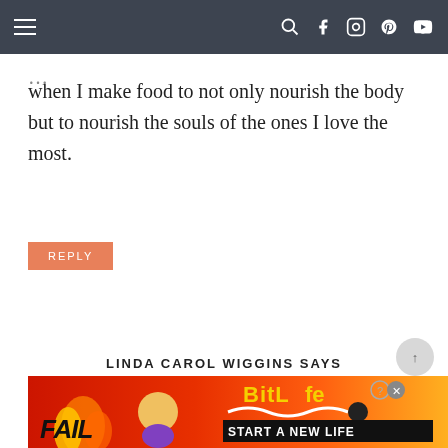Navigation bar with menu icon and social icons (search, Facebook, Instagram, Pinterest, YouTube)
when I make food to not only nourish the body but to nourish the souls of the ones I love the most.
REPLY
LINDA CAROL WIGGINS SAYS
NOVEMBER 10, 2021 AT 7:16 AM
I absolutely love recipes!! Haven't been able to try your seasonings as of yet but I
[Figure (screenshot): BitLife advertisement banner with flame graphics, a cartoon character, and text 'FAIL' and 'START A NEW LIFE']